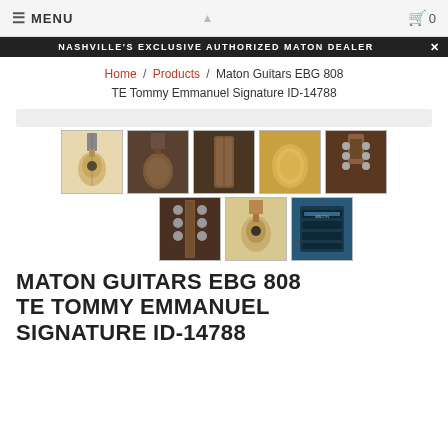≡ MENU   [logo]   🛒 0
NASHVILLE'S EXCLUSIVE AUTHORIZED MATON DEALER
Home / Products / Maton Guitars EBG 808 TE Tommy Emmanuel Signature ID-14788
[Figure (photo): Gallery of 8 thumbnail photos of Maton Guitars EBG 808 TE Tommy Emmanuel Signature guitar from various angles including front, back, side, headstock, and electronics]
MATON GUITARS EBG 808 TE TOMMY EMMANUEL SIGNATURE ID-14788